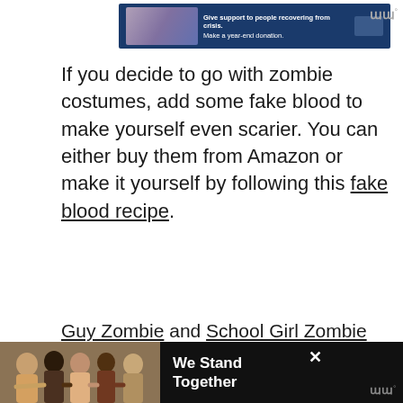[Figure (screenshot): Top advertisement banner with a blue background showing text 'Give support to people recovering from crisis. Make a year-end donation.' with a hands image on the left and a Wm logo on the right]
If you decide to go with zombie costumes, add some fake blood to make yourself even scarier. You can either buy them from Amazon or make it yourself by following this fake blood recipe.
Guy Zombie and School Girl Zombie
[Figure (photo): Image with pink border showing two zombie costume figures - a girl with red hair on the left and a guy zombie with bandage on the right]
[Figure (screenshot): Bottom advertisement bar showing 'We Stand Together' text with a group photo of people]